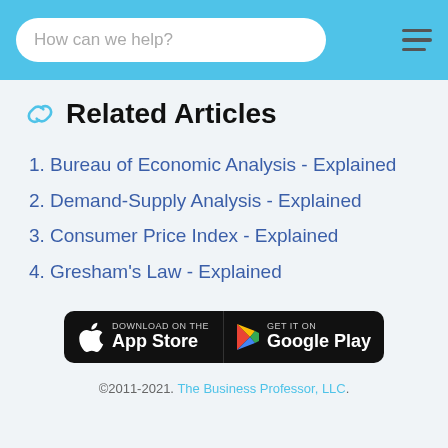How can we help?
Related Articles
Bureau of Economic Analysis - Explained
Demand-Supply Analysis - Explained
Consumer Price Index - Explained
Gresham's Law - Explained
[Figure (other): Download on the App Store and Get it on Google Play buttons]
©2011-2021. The Business Professor, LLC.